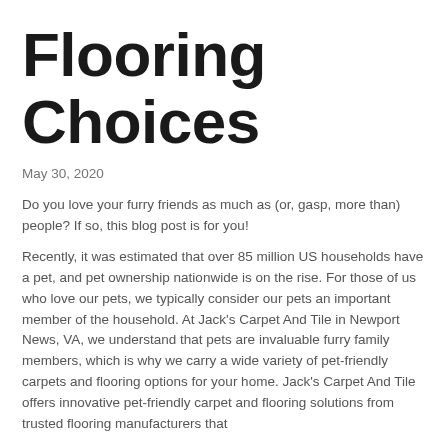Flooring Choices
May 30, 2020
Do you love your furry friends as much as (or, gasp, more than) people? If so, this blog post is for you!
Recently, it was estimated that over 85 million US households have a pet, and pet ownership nationwide is on the rise. For those of us who love our pets, we typically consider our pets an important member of the household. At Jack's Carpet And Tile in Newport News, VA, we understand that pets are invaluable furry family members, which is why we carry a wide variety of pet-friendly carpets and flooring options for your home. Jack's Carpet And Tile offers innovative pet-friendly carpet and flooring solutions from trusted flooring manufacturers that